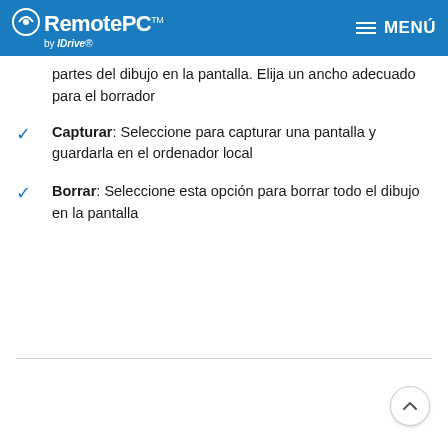RemotePC by IDrive — MENÚ
partes del dibujo en la pantalla. Elija un ancho adecuado para el borrador
Capturar: Seleccione para capturar una pantalla y guardarla en el ordenador local
Borrar: Seleccione esta opción para borrar todo el dibujo en la pantalla